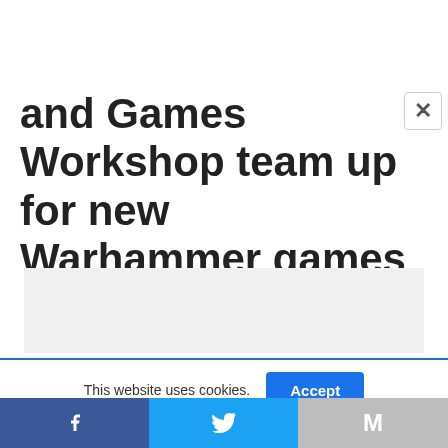and Games Workshop team up for new Warhammer games
[Figure (other): Advertisement placeholder box with light gray background]
This website uses cookies.
Accept
[Figure (other): Social sharing bar with Facebook, Twitter, and Gmail/Email icons]